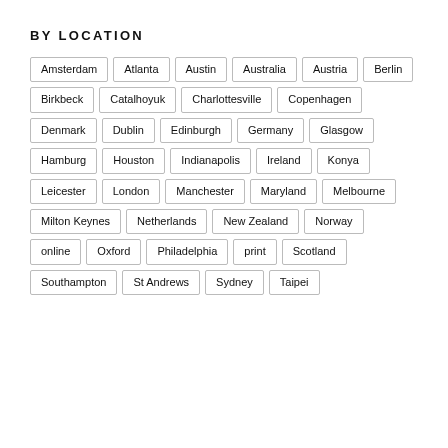BY LOCATION
Amsterdam
Atlanta
Austin
Australia
Austria
Berlin
Birkbeck
Catalhoyuk
Charlottesville
Copenhagen
Denmark
Dublin
Edinburgh
Germany
Glasgow
Hamburg
Houston
Indianapolis
Ireland
Konya
Leicester
London
Manchester
Maryland
Melbourne
Milton Keynes
Netherlands
New Zealand
Norway
online
Oxford
Philadelphia
print
Scotland
Southampton
St Andrews
Sydney
Taipei